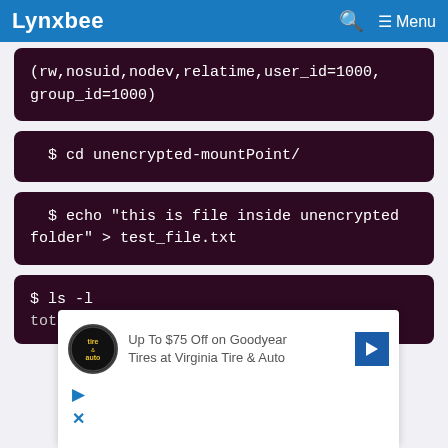Lynxbee — Menu
(rw,nosuid,nodev,relatime,user_id=1000,group_id=1000)
$ cd unencrypted-mountPoint/
$ echo "this is file inside unencrypted folder" > test_file.txt
$ ls -l
total 4
Up To $75 Off on Goodyear Tires at Virginia Tire & Auto